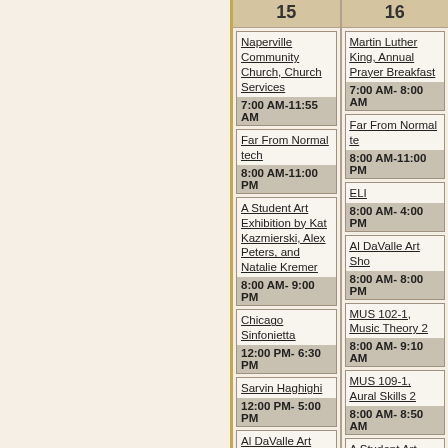| 15 | 16 |
| --- | --- |
| Naperville Community Church, Church Services
7:00 AM-11:55 AM | Martin Luther King, Annual Prayer Breakfast
7:00 AM- 8:00 AM |
| Far From Normal tech
8:00 AM-11:00 PM | Far From Normal te
8:00 AM-11:00 PM |
| A Student Art Exhibition by Kat Kazmierski, Alex Peters, and Natalie Kremer
8:00 AM- 9:00 PM | ELI
8:00 AM- 4:00 PM |
|  | Al DaValle Art Sho
8:00 AM- 8:00 PM |
| Chicago Sinfonietta
12:00 PM- 6:30 PM | MUS 102-1, Music Theory 2
8:00 AM- 9:10 AM |
| Sarvin Haghighi
12:00 PM- 5:00 PM | MUS 109-1, Aural Skills 2
8:00 AM- 8:50 AM |
| Al DaValle Art Show
12:00 PM- 8:00 PM | A Student Art Exhibition by Kat Kazmierski, Alex Peters, and Natalie Kremer
8:00 AM- 9:00 PM |
| Chicago Sinfonietta, Youth Performer's Room
12:05 PM- 7:00 PM | Freshman Visit Day
9:00 AM 12:30 PM |
| Chicago Sinfonietta's "Annual Tribute to Dr. |  |